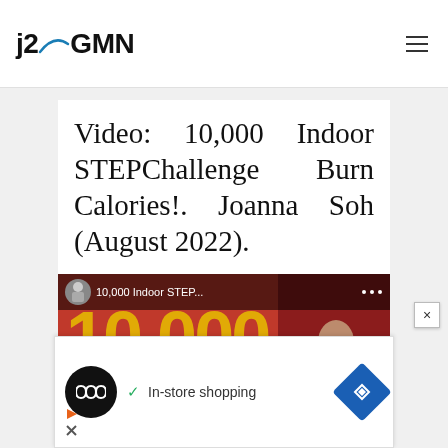j2GMN
Video: 10,000 Indoor STEPChallenge Burn Calories!. Joanna Soh (August 2022).
[Figure (screenshot): YouTube video thumbnail for '10,000 Indoor STEP...' showing exercise content with red background and play button]
[Figure (screenshot): Advertisement banner with infinity logo, 'In-store shopping' text with checkmark, navigation icon, play and close controls]